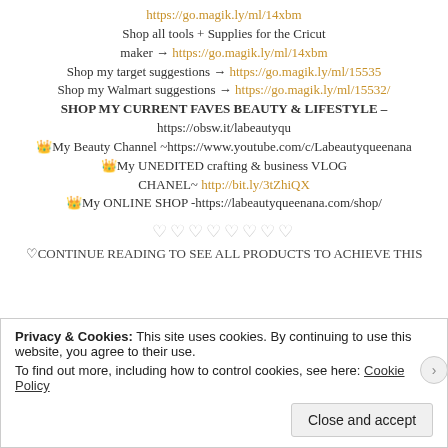https://go.magik.ly/ml/14xbm
Shop all tools + Supplies for the Cricut maker → https://go.magik.ly/ml/14xbm
Shop my target suggestions → https://go.magik.ly/ml/15535
Shop my Walmart suggestions → https://go.magik.ly/ml/15532/
SHOP MY CURRENT FAVES BEAUTY & LIFESTYLE – https://obsw.it/labeautyqu
👑My Beauty Channel ~https://www.youtube.com/c/Labeautyqueenana
👑My UNEDITED crafting & business VLOG CHANEL~ http://bit.ly/3tZhiQX
👑My ONLINE SHOP -https://labeautyqueenana.com/shop/
♡♡♡♡♡♡♡♡
♡CONTINUE READING TO SEE ALL PRODUCTS TO ACHIEVE THIS
Privacy & Cookies: This site uses cookies. By continuing to use this website, you agree to their use. To find out more, including how to control cookies, see here: Cookie Policy
Close and accept